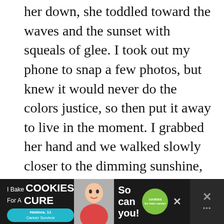her down, she toddled toward the waves and the sunset with squeals of glee. I took out my phone to snap a few photos, but knew it would never do the colors justice, so then put it away to live in the moment. I grabbed her hand and we walked slowly closer to the dimming sunshine, the light playing on the expansive sand that was still glistening in dampness from the water before the long tide went out.
[Figure (other): Advertisement banner at bottom of page: dark background with 'I Bake COOKIES For A CURE' text with Haldora, 11 Cancer Survivor badge, photo of smiling girl, 'So can you!' text, cookies for kids cancer green circular badge, and close/menu buttons]